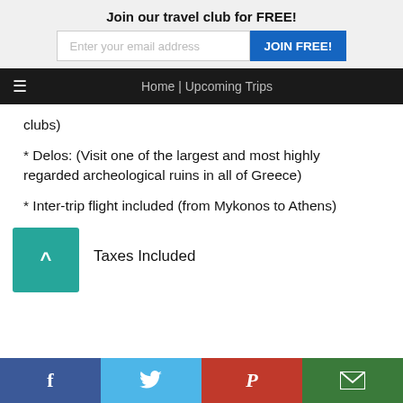Join our travel club for FREE!
Enter your email address | JOIN FREE!
☰  Home | Upcoming Trips
clubs)
* Delos: (Visit one of the largest and most highly regarded archeological ruins in all of Greece)
* Inter-trip flight included (from Mykonos to Athens)
Taxes Included
f  t  P  ✉